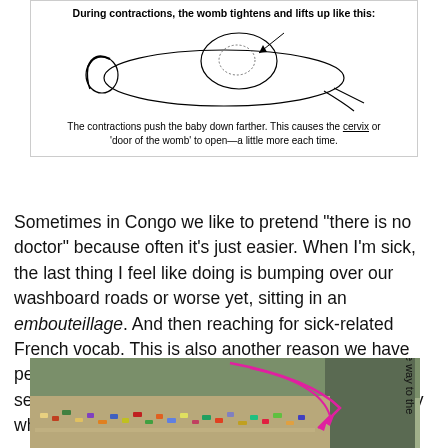[Figure (illustration): Medical illustration showing a pregnant woman lying on her back during contractions. Caption reads: 'During contractions, the womb tightens and lifts up like this:' above the image. Below: 'The contractions push the baby down farther. This causes the cervix or 'door of the womb' to open—a little more each time.']
Sometimes in Congo we like to pretend "there is no doctor" because often it's just easier. When I'm sick, the last thing I feel like doing is bumping over our washboard roads or worse yet, sitting in an embouteillage. And then reaching for sick-related French vocab. This is also another reason we have personally recruited a series of friends and family to serve as recent TASOK nurses. This comes in handy when "disaster" strikes.
[Figure (photo): Aerial photograph of a congested African city intersection with heavy traffic. Pink arrow annotations point downward into the traffic. Rotated text on the right side reads: 'on the way to the']